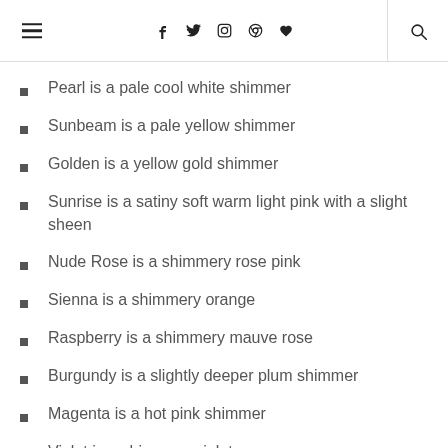Navigation header with hamburger menu, social icons (f, Twitter, Instagram, Pinterest, heart), and search icon
Pearl is a pale cool white shimmer
Sunbeam is a pale yellow shimmer
Golden is a yellow gold shimmer
Sunrise is a satiny soft warm light pink with a slight sheen
Nude Rose is a shimmery rose pink
Sienna is a shimmery orange
Raspberry is a shimmery mauve rose
Burgundy is a slightly deeper plum shimmer
Magenta is a hot pink shimmer
Violet is a shimmery violet